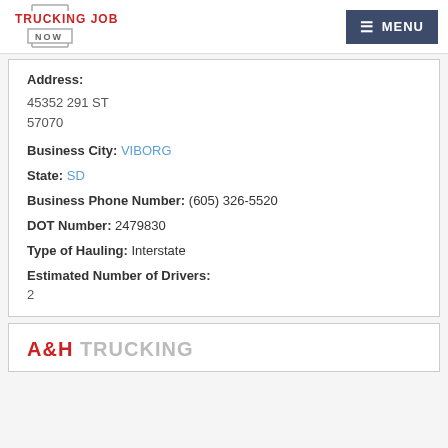TRUCKING JOB NOW — MENU
Address:
45352 291 ST
57070
Business City: VIBORG
State: SD
Business Phone Number: (605) 326-5520
DOT Number: 2479830
Type of Hauling: Interstate
Estimated Number of Drivers:
2
A&H TRUCKING